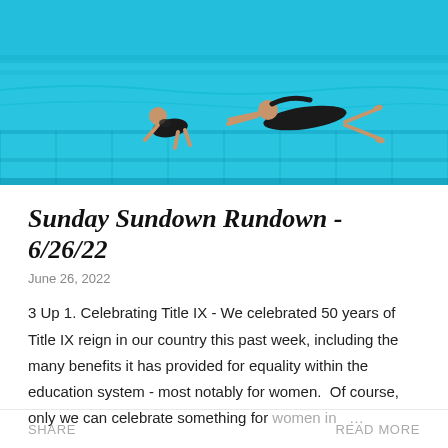[Figure (photo): Underwater photo of two swimmers in a blue pool, one diving horizontally and one crouching, taken from underwater angle.]
Sunday Sundown Rundown - 6/26/22
June 26, 2022
3 Up 1. Celebrating Title IX - We celebrated 50 years of Title IX reign in our country this past week, including the many benefits it has provided for equality within the education system - most notably for women.  Of course, only we can celebrate something for women in …
SHARE    READ MORE